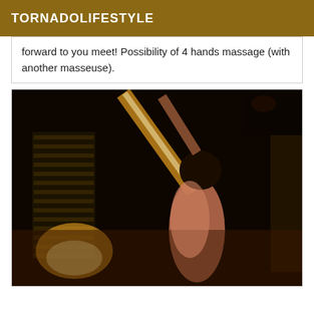TORNADOLIFESTYLE
forward to you meet! Possibility of 4 hands massage (with another masseuse).
[Figure (photo): Indoor photograph of a person in a dimly lit room with window blinds visible on the left side. The room has warm orange-yellow lighting from a lamp near the window. The person is standing with one arm raised.]